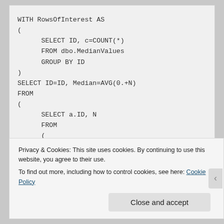WITH RowsOfInterest AS
(
        SELECT ID, c=COUNT(*)
        FROM dbo.MedianValues
        GROUP BY ID
)
SELECT ID=ID, Median=AVG(0.+N)
FROM
(
        SELECT a.ID, N
        FROM
        (
                SELECT ID, c1=(c+1)/2, c2=CASE c%2 WHEN 0
THEN 1+=(0 ELSE (c+1)/2 END
Privacy & Cookies: This site uses cookies. By continuing to use this website, you agree to their use.
To find out more, including how to control cookies, see here: Cookie Policy